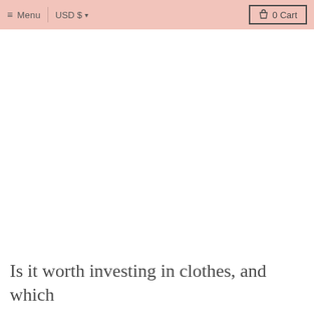≡ Menu  |  USD $  ▾          🛍 0 Cart
Is it worth investing in clothes, and which